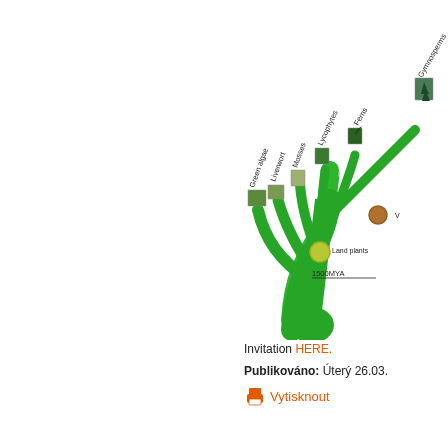[Figure (other): Phylogenetic tree of plants showing evolutionary relationships. Green branching tree with labeled groups: Green algae, Liverwort, Mosses, Lycophytes, Ferns, Gymnosperms. Yellow circle node labeled 'Land plants' at ~1500MYA, brown circle node for vascular plants. Small photographs of each plant group at the branch tips.]
Invitation HERE.
Publikováno: Úterý 26.03.
Vytisknout